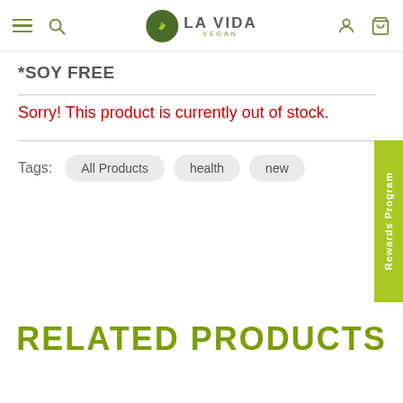LA VIDA VEGAN navigation bar with hamburger menu, search, logo, user and cart icons
*SOY FREE
Sorry! This product is currently out of stock.
Tags:  All Products  health  new
RELATED PRODUCTS